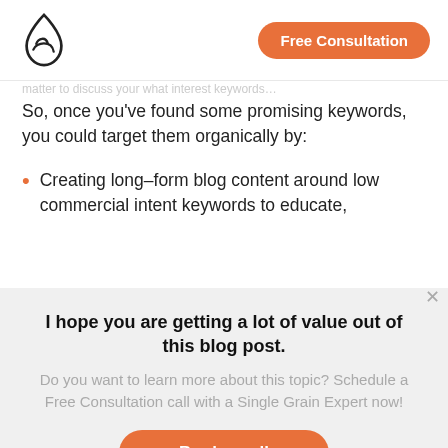This knowledge will then allow you to
[Figure (logo): Single Grain water drop logo in black outline]
Free Consultation
So, once you've found some promising keywords, you could target them organically by:
Creating long-form blog content around low commercial intent keywords to educate,
I hope you are getting a lot of value out of this blog post.
Do you want to learn more about this topic? Schedule a Free Consultation call with a Single Grain Expert now!
Book a call